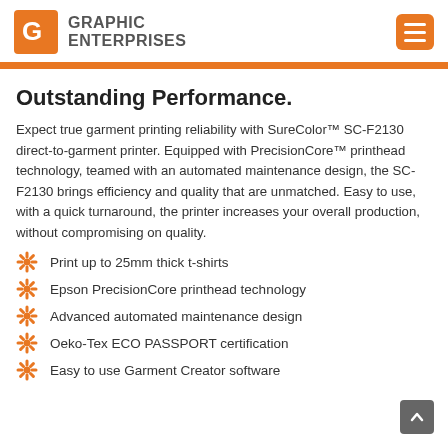GRAPHIC ENTERPRISES
Outstanding Performance.
Expect true garment printing reliability with SureColor™ SC-F2130 direct-to-garment printer. Equipped with PrecisionCore™ printhead technology, teamed with an automated maintenance design, the SC-F2130 brings efficiency and quality that are unmatched. Easy to use, with a quick turnaround, the printer increases your overall production, without compromising on quality.
Print up to 25mm thick t-shirts
Epson PrecisionCore printhead technology
Advanced automated maintenance design
Oeko-Tex ECO PASSPORT certification
Easy to use Garment Creator software